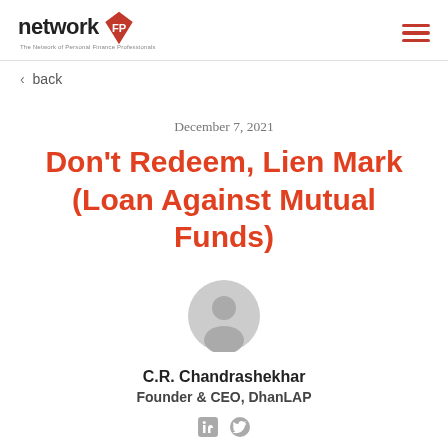networkFP – The Network of Personal Finance Professionals
< back
December 7, 2021
Don't Redeem, Lien Mark (Loan Against Mutual Funds)
[Figure (illustration): Generic user avatar icon – grey circular silhouette with person shape]
C.R. Chandrashekhar
Founder & CEO, DhanLAP
[Figure (illustration): LinkedIn and Twitter social media icons in grey]